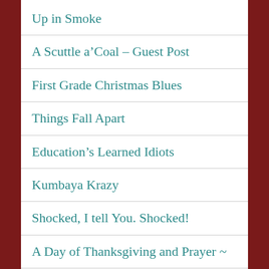Up in Smoke
A Scuttle a’Coal – Guest Post
First Grade Christmas Blues
Things Fall Apart
Education’s Learned Idiots
Kumbaya Krazy
Shocked, I tell You. Shocked!
A Day of Thanksgiving and Prayer ~
The…